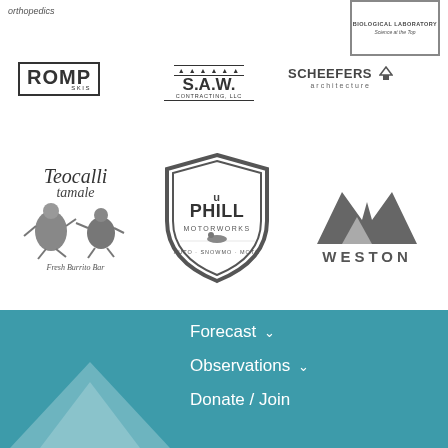[Figure (logo): Orthopedics text logo (partial)]
[Figure (logo): Biological Laboratory - Science at the Top logo with border]
[Figure (logo): ROMP Skis logo with border]
[Figure (logo): S.A.W. Contracting LLC logo]
[Figure (logo): Scheefers Architecture logo]
[Figure (logo): Teocalli Tamale - Fresh Burrito Bar logo]
[Figure (logo): Uphill Motorworks - Auto Snowmo Moto badge logo]
[Figure (logo): Weston logo with W mountain mark]
Forecast
Observations
Donate / Join